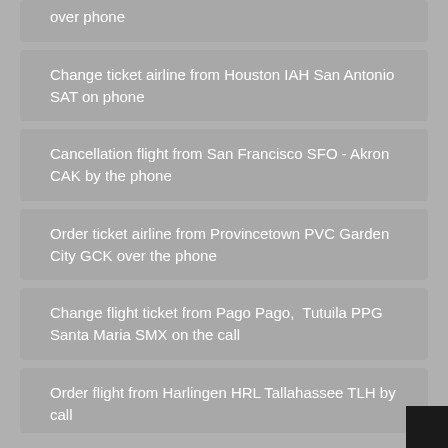over phone
Change ticket airline from Houston IAH San Antonio SAT on phone
Cancellation flight from San Francisco SFO - Akron CAK by the phone
Order ticket airline from Provincetown PVC Garden City GCK over the phone
Change flight ticket from Pago Pago,  Tutuila PPG Santa Maria SMX on the call
Order flight from Harlingen HRL Tallahassee TLH by call